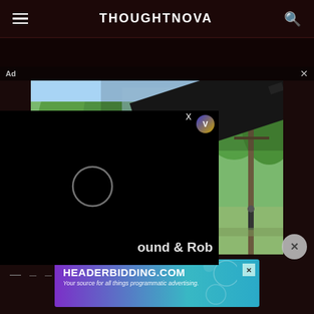THOUGHTNOVA
[Figure (screenshot): Website screenshot showing THOUGHTNOVA header with hamburger menu and search icon, an advertisement overlay with a video game screenshot (first-person shooter with gun and outdoor scene), a black video player overlay with loading circle and V badge, partial text 'ound & Rob', a close button, dashes navigation row, and a HEADERBIDDING.COM banner advertisement at the bottom.]